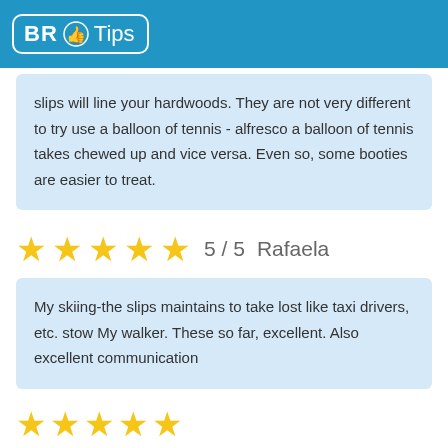BR Tips
slips will line your hardwoods. They are not very different to try use a balloon of tennis - alfresco a balloon of tennis takes chewed up and vice versa. Even so, some booties are easier to treat.
5 / 5   Rafaela
My skiing-the slips maintains to take lost like taxi drivers, etc. stow My walker. These so far, excellent. Also excellent communication
[Figure (other): Partial row of golden stars at bottom of page]